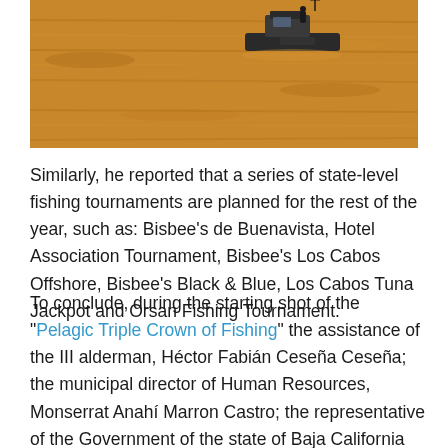[Figure (photo): A fishing boat named 'LA PRESA' on golden-orange water at sunset or sunrise, viewed from a distance with reflective water surface.]
Similarly, he reported that a series of state-level fishing tournaments are planned for the rest of the year, such as: Bisbee's de Buenavista, Hotel Association Tournament, Bisbee's Los Cabos Offshore, Bisbee's Black & Blue, Los Cabos Tuna Jackpot and Orsan Fishing Tournament.
To conclude, during the starting shot of the "Pelagic Triple Crown of Fishing" the assistance of the III alderman, Héctor Fabián Ceseña Ceseña; the municipal director of Human Resources, Monserrat Anahí Marron Castro; the representative of the Government of the state of Baja California Sur in Los Cabos, Carlos Castro Ceseña, as well as municipal and delegation personnel of the XIV